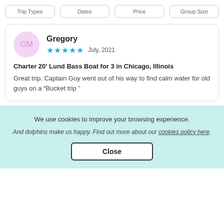Trip Types | Dates | Price | Group Size
Gregory
★★★★★ July, 2021
Charter 20' Lund Bass Boat for 3 in Chicago, Illinois
Great trip. Captain Guy went out of his way to find calm water for old guys on a “Bucket trip ”
We use cookies to improve your browsing experience. And dolphins make us happy. Find out more about our cookies policy here.
Close